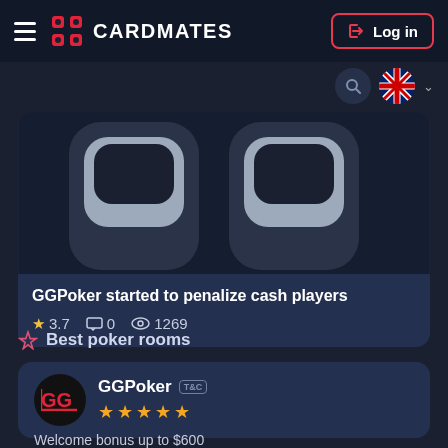CARDMATES
[Figure (screenshot): GGPoker logo on dark background — two white rounded rectangle shapes on dark navy background]
GGPoker started to penalize cash players
★ 3.7  □ 0  👁 1269
Best poker rooms
GGPoker  T&C
★ ★ ★ ★ ★
Welcome bonus up to $600